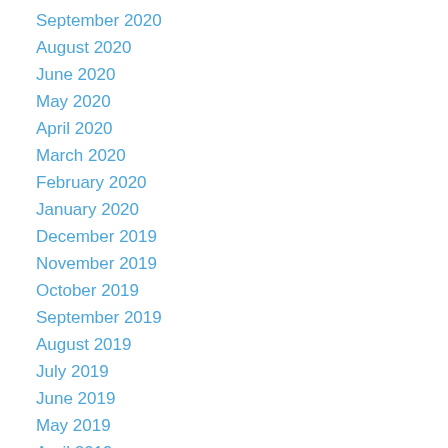September 2020
August 2020
June 2020
May 2020
April 2020
March 2020
February 2020
January 2020
December 2019
November 2019
October 2019
September 2019
August 2019
July 2019
June 2019
May 2019
April 2019
March 2019
February 2019
January 2019